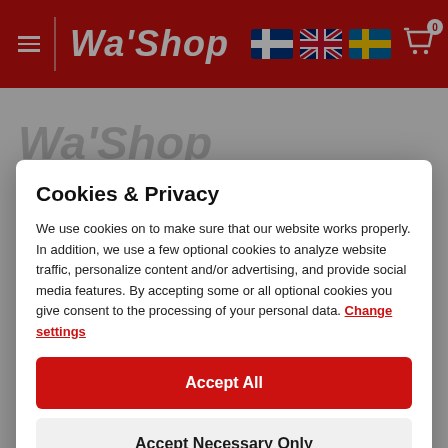Wa'Shop — website header with navigation and language flags (Finland, UK, Sweden) and cart icon
Cookies & Privacy
We use cookies on to make sure that our website works properly. In addition, we use a few optional cookies to analyze website traffic, personalize content and/or advertising, and provide social media features. By accepting some or all optional cookies you give consent to the processing of your personal data. Change settings
Accept All
Accept Necessary Only